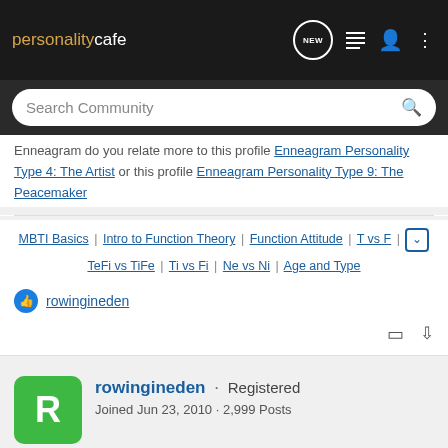personality cafe — navigation bar with NEW, list, user, and more icons
Search Community
Enneagram do you relate more to this profile Enneagram Personality Type 4: The Artist or this profile Enneagram Personality Type 9: The Peacemaker
MBTI Basics | Intro to Function Theory | Function Attitude | T vs F | TeFi vs TiFe | Ti vs Fi | Ne vs Ni | Age and Type
rowingineden
rowingineden · Registered
Joined Jun 23, 2010 · 2,999 Posts